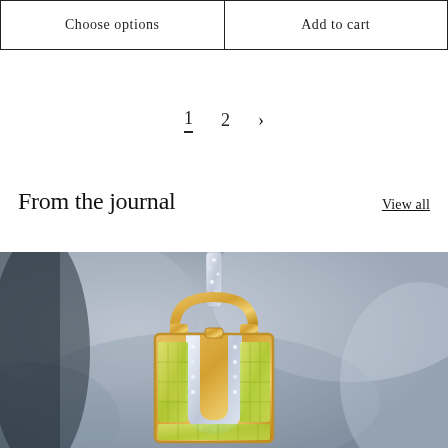Choose options | Add to cart
1  2  >
From the journal
View all
[Figure (photo): Close-up photo of a luxury gold and diamond handbag charm/pendant against a shiny silver metallic background. The piece features yellow gemstones set in gold, with diamond-encrusted handles and strap.]